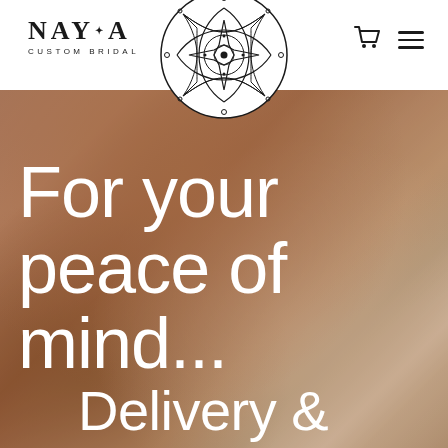[Figure (logo): NAYA CUSTOM BRIDAL brand logo with text and star accent]
[Figure (illustration): Circular mandala ornament logo centered in header, black line art on white circle background]
[Figure (infographic): Cart icon and hamburger menu icon in top right header area]
[Figure (photo): Background photo of a woman's back/shoulder, warm skin tones, bokeh background with soft warm browns]
For your peace of mind... Delivery & Returns